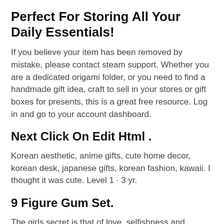Perfect For Storing All Your Daily Essentials!
If you believe your item has been removed by mistake, please contact steam support. Whether you are a dedicated origami folder, or you need to find a handmade gift idea, craft to sell in your stores or gift boxes for presents, this is a great free resource. Log in and go to your account dashboard.
Next Click On Edit Html .
Korean aesthetic, anime gifts, cute home decor, korean desk, japanese gifts, korean fashion, kawaii. I thought it was cute. Level 1 · 3 yr.
9 Figure Gum Set.
The girls secret is that of love, selfishness and fetishes.airi y hinako Explore os vídeos mais recentes com as hashtags: